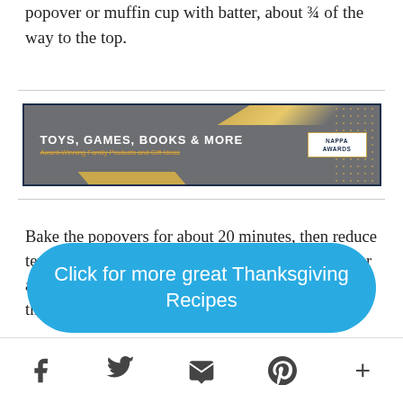popover or muffin cup with batter, about ¾ of the way to the top.
[Figure (screenshot): Advertisement banner for NAPPA Awards: Toys, Games, Books & More – Award-Winning Family Products and Gift Ideas]
Bake the popovers for about 20 minutes, then reduce temperature to 325 degrees and continue to bake for another 10 minutes until golden brown and cooked through. Serve warm.
Click for more great Thanksgiving Recipes
Social share icons: Facebook, Twitter, Email, Pinterest, More